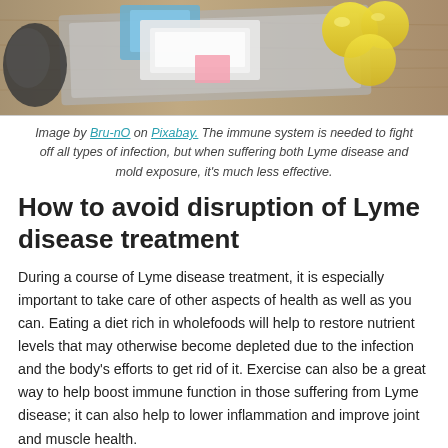[Figure (photo): Photo of household items including tissues, wipes, and lemons on a wooden surface]
Image by Bru-nO on Pixabay. The immune system is needed to fight off all types of infection, but when suffering both Lyme disease and mold exposure, it's much less effective.
How to avoid disruption of Lyme disease treatment
During a course of Lyme disease treatment, it is especially important to take care of other aspects of health as well as you can. Eating a diet rich in wholefoods will help to restore nutrient levels that may otherwise become depleted due to the infection and the body's efforts to get rid of it. Exercise can also be a great way to help boost immune function in those suffering from Lyme disease; it can also help to lower inflammation and improve joint and muscle health.